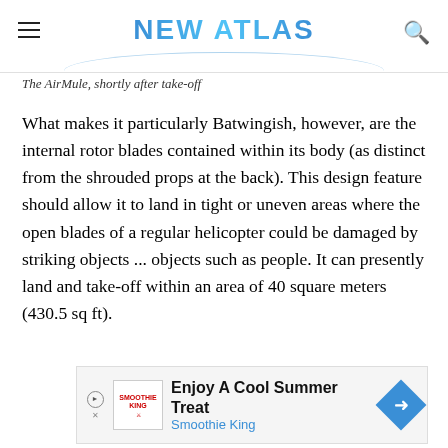NEW ATLAS
The AirMule, shortly after take-off
What makes it particularly Batwingish, however, are the internal rotor blades contained within its body (as distinct from the shrouded props at the back). This design feature should allow it to land in tight or uneven areas where the open blades of a regular helicopter could be damaged by striking objects ... objects such as people. It can presently land and take-off within an area of 40 square meters (430.5 sq ft).
[Figure (infographic): Advertisement banner for Smoothie King: 'Enjoy A Cool Summer Treat' with Smoothie King branding, play button, and directional arrow icon.]